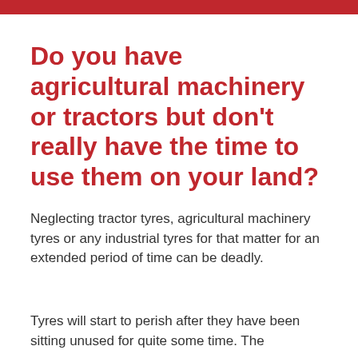Do you have agricultural machinery or tractors but don't really have the time to use them on your land?
Neglecting tractor tyres, agricultural machinery tyres or any industrial tyres for that matter for an extended period of time can be deadly.
Tyres will start to perish after they have been sitting unused for quite some time. The